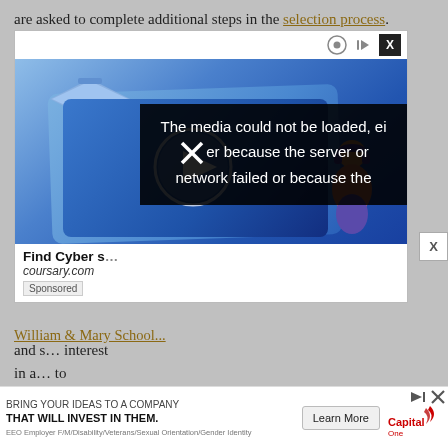are asked to complete additional steps in the selection process.
[Figure (other): Online advertisement for coursary.com featuring an illustration of a laptop with a graduation cap and a play button, showing a video player with the text 'Find Cyber s...' and 'coursary.com'. An error overlay reads: 'The media could not be loaded, either because the server or network failed or because the'. Labeled as 'Sponsored'.]
[Figure (other): Capital One banner advertisement reading 'BRING YOUR IDEAS TO A COMPANY THAT WILL INVEST IN THEM.' with 'Learn More' button and Capital One logo. EEO Employer disclaimer shown in small text.]
William & Mary School...
and s... interest in a... to